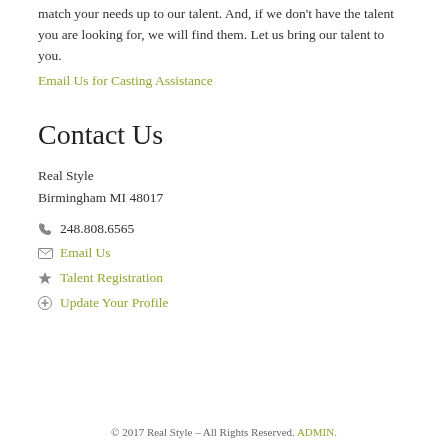match your needs up to our talent. And, if we don't have the talent you are looking for, we will find them. Let us bring our talent to you.
Email Us for Casting Assistance
Contact Us
Real Style
Birmingham MI 48017
248.808.6565
Email Us
Talent Registration
Update Your Profile
© 2017 Real Style – All Rights Reserved. ADMIN.